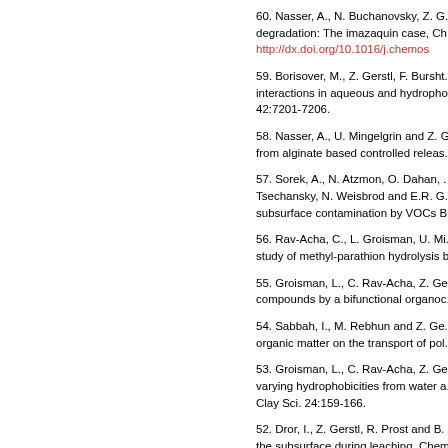60. Nasser, A., N. Buchanovsky, Z. G... degradation: The imazaquin case, Ch... http://dx.doi.org/10.1016/j.chemos...
59. Borisover, M., Z. Gerstl, F. Bursht... interactions in aqueous and hydropho... 42:7201-7206.
58. Nasser, A., U. Mingelgrin and Z. G... from alginate based controlled releas...
57. Sorek, A., N. Atzmon, O. Dahan, ... Tsechansky, N. Weisbrod and E.R. G... subsurface contamination by VOCs B...
56. Rav-Acha, C., L. Groisman, U. Mi... study of methyl-parathion hydrolysis b...
55. Groisman, L., C. Rav-Acha, Z. Ge... compounds by a bifunctional organoc...
54. Sabbah, I., M. Rebhun and Z. Ge... organic matter on the transport of pol...
53. Groisman, L., C. Rav-Acha, Z. Ge... varying hydrophobicities from water a... Clay Sci. 24:159-166.
52. Dror, I., Z. Gerstl, R. Prost and B... the subsurface during leaching. Chem...
51. Polubesova T., S. Nir, Z. Gerstl, M... and crystal violet-montmorillonite co...